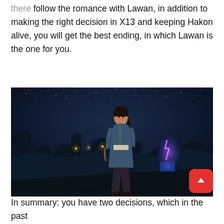there follow the romance with Lawan, in addition to making the right decision in X13 and keeping Hakon alive, you will get the best ending, in which Lawan is the one for you.
[Figure (photo): Screenshot from a video game showing a female character standing on a wooden dock at night, with a dark blue sky full of stars, ruins and lights in the background, and a purple glowing magical effect to the right.]
In summary: you have two decisions, which in the past